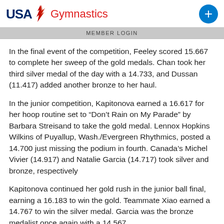USA Gymnastics
MEMBER LOGIN
In the final event of the competition, Feeley scored 15.667 to complete her sweep of the gold medals. Chan took her third silver medal of the day with a 14.733, and Dussan (11.417) added another bronze to her haul.
In the junior competition, Kapitonova earned a 16.617 for her hoop routine set to “Don’t Rain on My Parade” by Barbara Streisand to take the gold medal. Lennox Hopkins Wilkins of Puyallup, Wash./Evergreen Rhythmics, posted a 14.700 just missing the podium in fourth. Canada’s Michel Vivier (14.917) and Natalie Garcia (14.717) took silver and bronze, respectively
Kapitonova continued her gold rush in the junior ball final, earning a 16.183 to win the gold. Teammate Xiao earned a 14.767 to win the silver medal. Garcia was the bronze medalist once again with a 14.567.